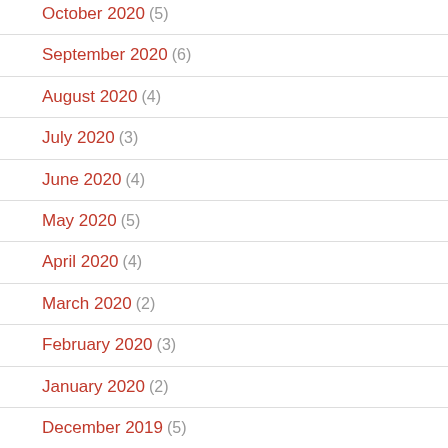October 2020 (5)
September 2020 (6)
August 2020 (4)
July 2020 (3)
June 2020 (4)
May 2020 (5)
April 2020 (4)
March 2020 (2)
February 2020 (3)
January 2020 (2)
December 2019 (5)